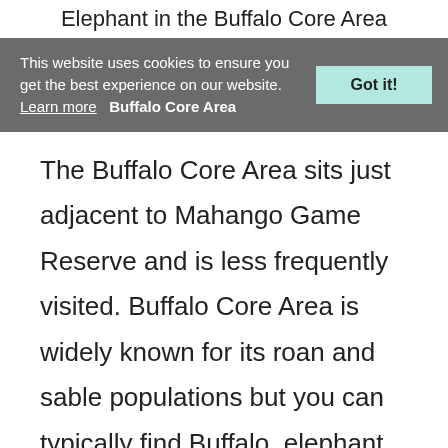Elephant in the Buffalo Core Area
This website uses cookies to ensure you get the best experience on our website. Learn more   Buffalo Core Area   Got it!
The Buffalo Core Area sits just adjacent to Mahango Game Reserve and is less frequently visited. Buffalo Core Area is widely known for its roan and sable populations but you can typically find Buffalo, elephant, warthog, kudu, imp reedbuck, red lechwe, and other game